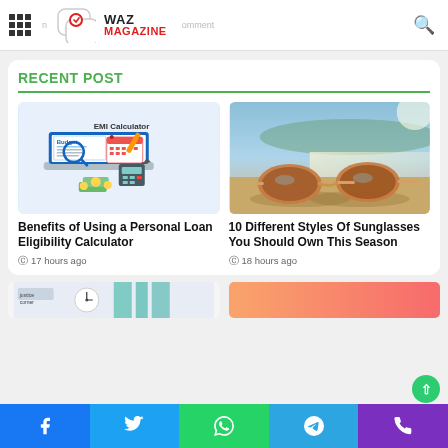WAZ MAGAZINE
RECENT POST
[Figure (illustration): EMI Calculator illustration with budget magnifying glass, calendar, calculator and money]
Benefits of Using a Personal Loan Eligibility Calculator
17 hours ago
[Figure (photo): Photo of sunglasses on a sunny beach near water]
10 Different Styles Of Sunglasses You Should Own This Season
18 hours ago
[Figure (photo): Partial preview of article thumbnail on bottom left]
[Figure (photo): Partial preview of article thumbnail on bottom right]